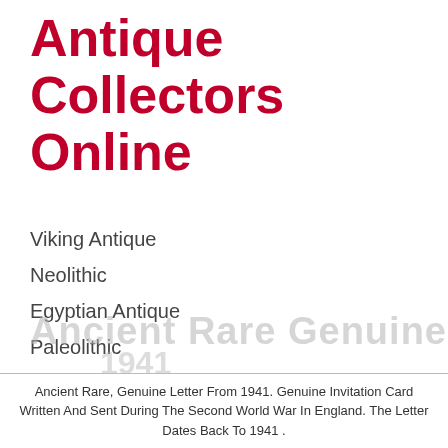Antique Collectors Online
Viking Antique
Neolithic
Egyptian Antique
Paleolithic
Islamic Antique
Medieval Antique
Ancient Rare, Genuine Letter From 1941. Genuine Invitation Card Written And Sent During The Second World War In England. The Letter Dates Back To 1941 .